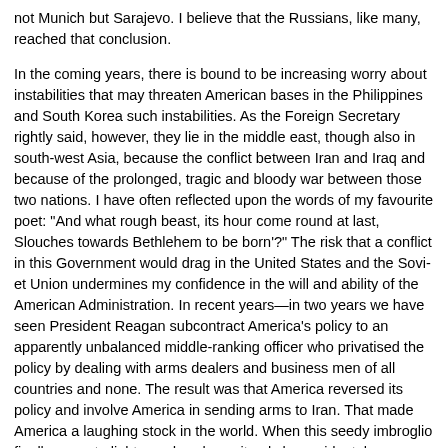not Munich but Sarajevo. I believe that the Russians, like many, reached that conclusion.
In the coming years, there is bound to be increasing worry about instabilities that may threaten American bases in the Philippines and South Korea. NATO must address such instabilities. As the Foreign Secretary rightly said, however, they lie in the middle east, though also in south-west Asia, because the conflict between Iran and Iraq, and because of the prolonged, tragic and bloody war between those two nations. I have often reflected upon the words of my favourite poet: "And what rough beast, its hour come round at last, Slouches towards Bethlehem to be born'?" The risk that a conflict in this area under this Government would drag in the United States and the Soviet Union undermines my confidence in the will and ability of the American Administration. In recent years—in two years we have seen President Reagan subcontract American policy to an apparently unbalanced middle-ranking officer who privatised the policy by dealing with arms dealers and business men of all countries and none. The result was that America reversed its policy and involve America in sending arms to Iran. That made America a laughing stock in the world. When this seedy imbroglio finally came to light—and we know it only by accidental means—President Reagan treated an attack by an Iraqi aircraft on a United States ship by reversing his policy towards Iran and instead threatened to bomb Iran, who he had been supplying arms for the previous three years if a local navy commander had